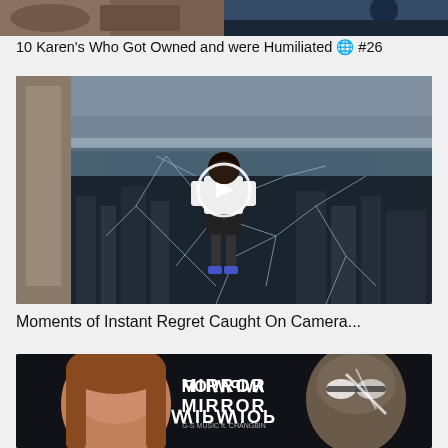[Figure (photo): Two thumbnail images side by side at top of page — left shows a brown/rocky scene, right shows a dark blue scene with a circle]
10 Karen's Who Got Owned and were Humiliated 🌐 #26
[Figure (screenshot): Video thumbnail showing a woman in white top and dark shorts standing on a cracked glass floor skywalk high above a city, with a play button overlay]
Moments of Instant Regret Caught On Camera...
[Figure (photo): Bottom thumbnail showing a young woman and a person with sunglasses with stylized mirror text 'MIRROR MIRROR' logo overlay]